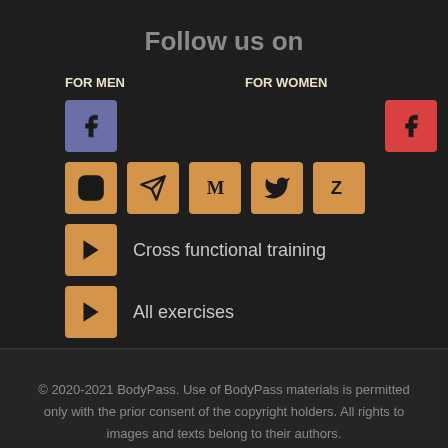Follow us on
FOR MEN
FOR WOMEN
[Figure (infographic): Social media icons for men and women: Facebook (blue/men, red/women), Instagram, Telegram, Medium, Twitter, Zalo (orange icons shared), YouTube icons for Cross functional training and All exercises channels]
Cross functional training
All exercises
© 2020-2021 BodyPass. Use of BodyPass materials is permitted only with the prior consent of the copyright holders. All rights to images and texts belong to their authors.